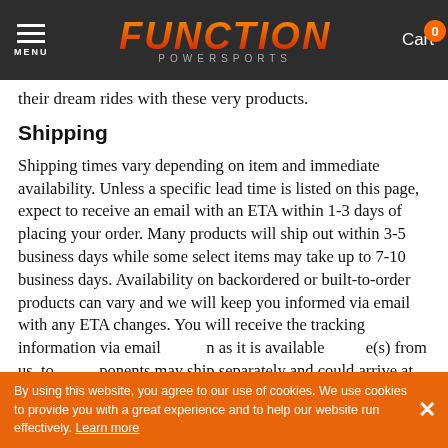FUNCTION POWERSPORTS — Cart 0
their dream rides with these very products.
Shipping
Shipping times vary depending on item and immediate availability. Unless a specific lead time is listed on this page, expect to receive an email with an ETA within 1-3 days of placing your order. Many products will ship out within 3-5 business days while some select items may take up to 7-10 business days. Availability on backordered or built-to-order products can vary and we will keep you informed via email with any ETA changes. You will receive the tracking information via email as it is available from us, to components may ship separately and could arrive at different times. All shipping prices are based on the lower 48 states unless specified otherwise and do not include any duties or customs fees you may be subject to for international orders.
By using this website, you agree to our use of cookies. We use cookies to provide you with a great experience and to help our website run effectively. Learn more